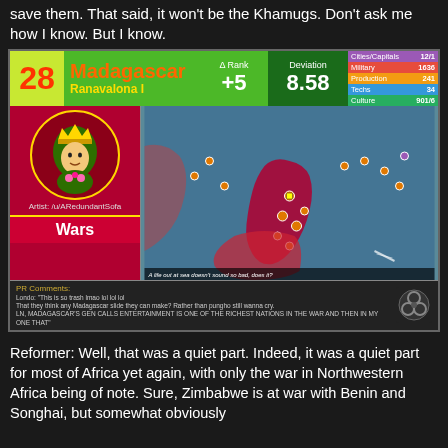save them. That said, it won't be the Khamugs. Don't ask me how I know. But I know.
[Figure (screenshot): Civilization game screenshot card for Madagascar ranked 28th, led by Ranavalona I. Shows delta rank +5, deviation 8.58. Stats for Cities/Capitals, Military, Production, Techs, Culture. Left panel shows leader artwork and Wars section. Right panel shows in-game map of Madagascar area. Bottom shows PR Comments with game text. Artist credit: /u/ARedundantSofa]
Reformer: Well, that was a quiet part. Indeed, it was a quiet part for most of Africa yet again, with only the war in Northwestern Africa being of note. Sure, Zimbabwe is at war with Benin and Songhai, but somewhat obviously